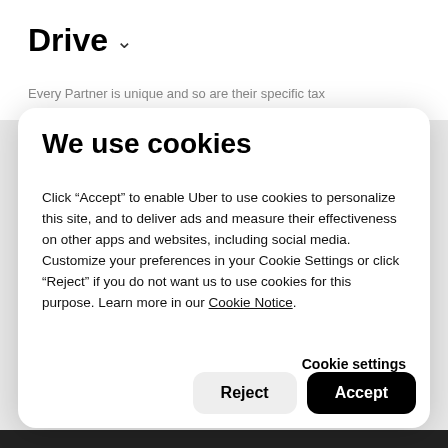Drive ˅
Every Partner is unique and so are their specific tax
We use cookies
Click “Accept” to enable Uber to use cookies to personalize this site, and to deliver ads and measure their effectiveness on other apps and websites, including social media. Customize your preferences in your Cookie Settings or click “Reject” if you do not want us to use cookies for this purpose. Learn more in our Cookie Notice.
Cookie settings
Reject
Accept